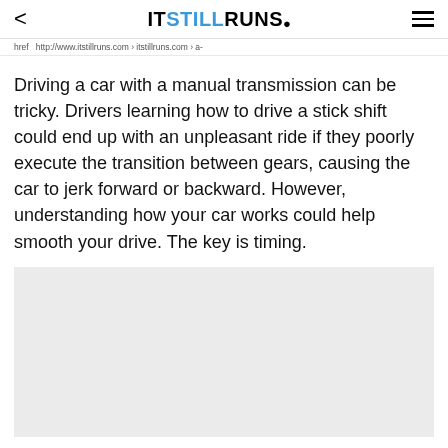< ITSTILLRUNS. ≡
href  http://www.itstillruns.com › itstillruns.com › a-
Driving a car with a manual transmission can be tricky. Drivers learning how to drive a stick shift could end up with an unpleasant ride if they poorly execute the transition between gears, causing the car to jerk forward or backward. However, understanding how your car works could help smooth your drive. The key is timing.
[Figure (other): Light gray advertisement placeholder rectangle]